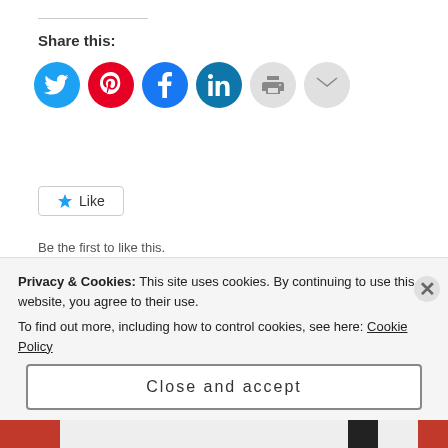Share this:
[Figure (illustration): Row of six social sharing icon circles: Twitter (blue), Pinterest (red), Facebook (blue), LinkedIn (teal), Print (light gray), Email (light gray)]
Like  Be the first to like this.
Posted in Advice, Attitude, Belief, Blog, Challenge, choice, Commitment, Confidence, Courage, Decision, Dreams, Encouragement, Everyday, Failure, Faith, Fear, Future, Goals, Growth, Hardship, healing, Hope, Inspirational, Journey, Joy, Lessons, Life, Love, pain, Personal, Purpose, Regrets, Strength, Stress, Struggle, Success, Truth, Wisdom
Privacy & Cookies: This site uses cookies. By continuing to use this website, you agree to their use. To find out more, including how to control cookies, see here: Cookie Policy
Close and accept